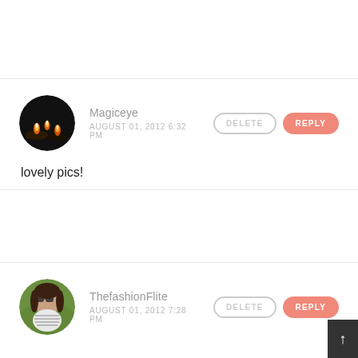[Figure (photo): Avatar of Magiceye: dark circular photo showing lit candles/diyas]
Magiceye
AUGUST 01, 2012 6:32 PM
lovely pics!
[Figure (photo): Avatar of ThefashionFlite: circular photo of a woman with sunglasses outdoors]
ThefashionFlite
AUGUST 01, 2012 7:28 PM